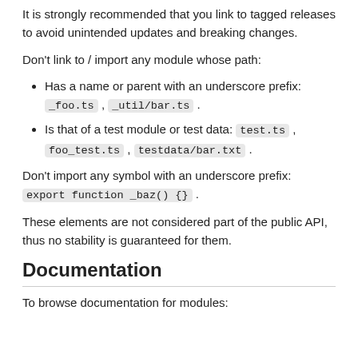It is strongly recommended that you link to tagged releases to avoid unintended updates and breaking changes.
Don't link to / import any module whose path:
Has a name or parent with an underscore prefix: _foo.ts , _util/bar.ts .
Is that of a test module or test data: test.ts , foo_test.ts , testdata/bar.txt .
Don't import any symbol with an underscore prefix: export function _baz() {} .
These elements are not considered part of the public API, thus no stability is guaranteed for them.
Documentation
To browse documentation for modules: